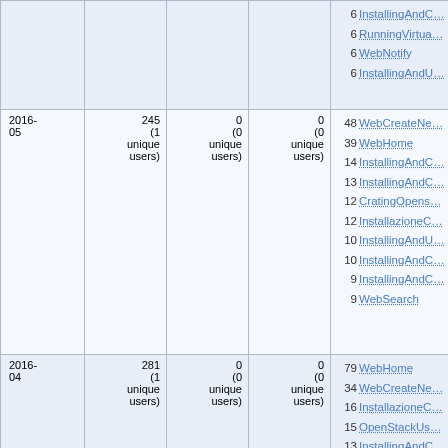| Period | Views | Edits | Attachments | Top pages |
| --- | --- | --- | --- | --- |
|  |  |  |  | 6 InstallingAndC...
6 RunningVirtua...
6 WebNotify
6 InstallingAndU... |
| 2016-05 | 245
(1 unique users) | 0
(0 unique users) | 0
(0 unique users) | 48 WebCreateNe...
39 WebHome
14 InstallingAndC...
13 InstallingAndC...
12 CratingOpens...
12 InstallazioneC...
10 InstallingAndU...
10 InstallingAndC...
9 InstallingAndC...
9 WebSearch |
| 2016-04 | 281
(1 unique users) | 0
(0 unique users) | 0
(0 unique users) | 79 WebHome
34 WebCreateNe...
16 InstallazioneC...
15 OpenStackUs...
13 InstallingAndC...
11 WebChanges
10 WebNotify
10 InstallingAndC...
8 InstallingA... |